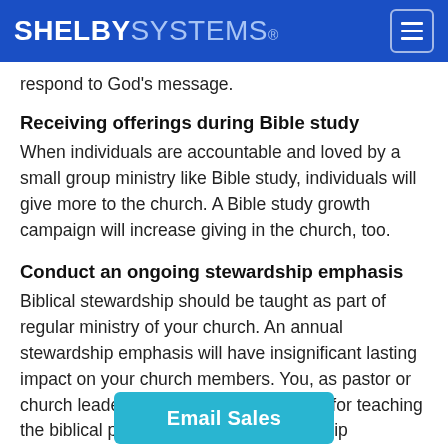SHELBY SYSTEMS®
respond to God's message.
Receiving offerings during Bible study
When individuals are accountable and loved by a small group ministry like Bible study, individuals will give more to the church. A Bible study growth campaign will increase giving in the church, too.
Conduct an ongoing stewardship emphasis
Biblical stewardship should be taught as part of regular ministry of your church. An annual stewardship emphasis will have insignificant lasting impact on your church members. You, as pastor or church leader, do not need to apologize for teaching the biblical pers stewardship
Email Sales